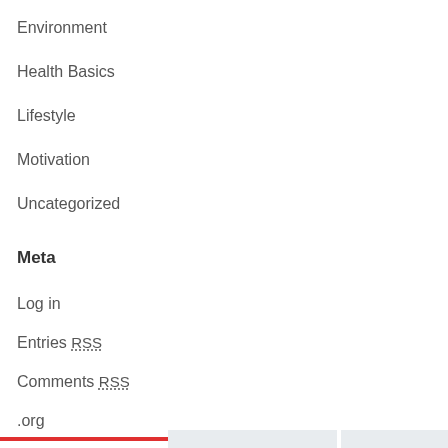Environment
Health Basics
Lifestyle
Motivation
Uncategorized
Meta
Log in
Entries RSS
Comments RSS
.org